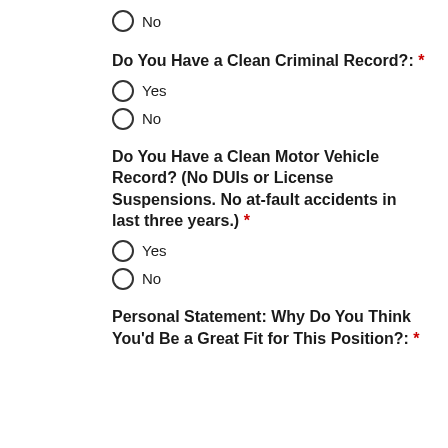No
Do You Have a Clean Criminal Record?: *
Yes
No
Do You Have a Clean Motor Vehicle Record? (No DUIs or License Suspensions. No at-fault accidents in last three years.) *
Yes
No
Personal Statement: Why Do You Think You'd Be a Great Fit for This Position?: *